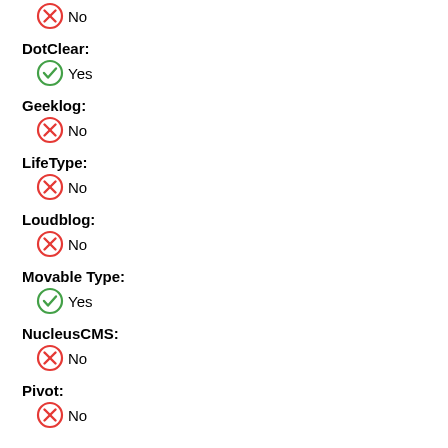No
DotClear: Yes
Geeklog: No
LifeType: No
Loudblog: No
Movable Type: Yes
NucleusCMS: No
Pivot: No